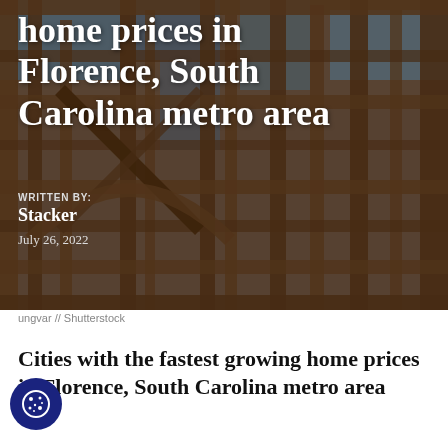[Figure (photo): Construction photo showing wooden framing of a house under construction against a blue sky, used as hero image background]
home prices in Florence, South Carolina metro area
WRITTEN BY:
Stacker
July 26, 2022
ungvar // Shutterstock
Cities with the fastest growing home prices in Florence, South Carolina metro area